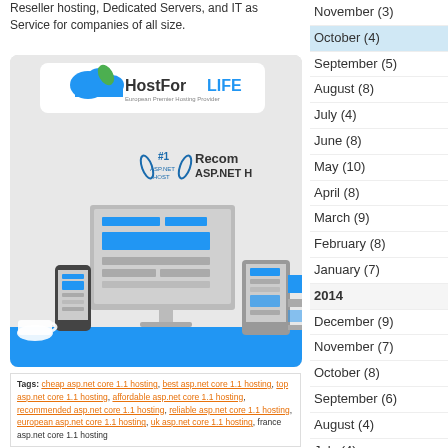Reseller hosting, Dedicated Servers, and IT as Service for companies of all size.
[Figure (illustration): HostForLIFE logo and web hosting promotional image with devices (monitor, tablet, phone) and #1 ASP.NET HOST recommended badge]
Tags: cheap asp.net core 1.1 hosting, best asp.net core 1.1 hosting, top asp.net core 1.1 hosting, affordable asp.net core 1.1 hosting, recommended asp.net core 1.1 hosting, reliable asp.net core 1.1 hosting, european asp.net core 1.1 hosting, uk asp.net core 1.1 hosting, france asp.net core 1.1 hosting
November (3)
October (4)
September (5)
August (8)
July (4)
June (8)
May (10)
April (8)
March (9)
February (8)
January (7)
2014
December (9)
November (7)
October (8)
September (6)
August (4)
July (4)